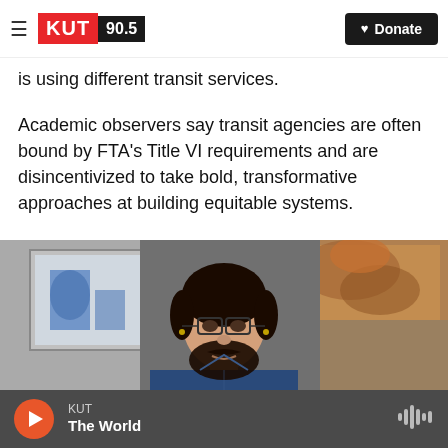KUT 90.5 | Donate
is using different transit services.
Academic observers say transit agencies are often bound by FTA's Title VI requirements and are disincentivized to take bold, transformative approaches at building equitable systems.
[Figure (photo): Portrait of a young man with glasses, a mustache, and dark hair wearing a blue shirt, standing in front of artwork and a textured wall]
KUT | The World (audio player)